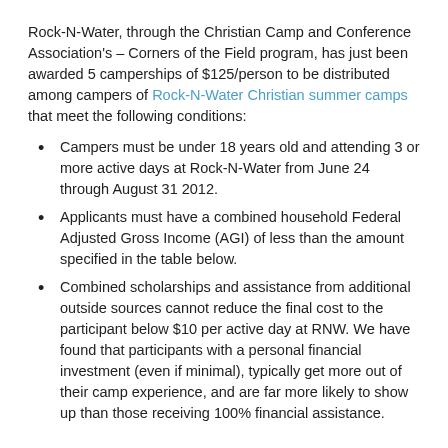Rock-N-Water, through the Christian Camp and Conference Association's – Corners of the Field program, has just been awarded 5 camperships of $125/person to be distributed among campers of Rock-N-Water Christian summer camps that meet the following conditions:
Campers must be under 18 years old and attending 3 or more active days at Rock-N-Water from June 24 through August 31 2012.
Applicants must have a combined household Federal Adjusted Gross Income (AGI) of less than the amount specified in the table below.
Combined scholarships and assistance from additional outside sources cannot reduce the final cost to the participant below $10 per active day at RNW. We have found that participants with a personal financial investment (even if minimal), typically get more out of their camp experience, and are far more likely to show up than those receiving 100% financial assistance.